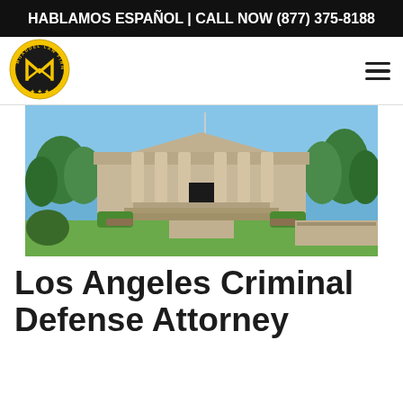HABLAMOS ESPAÑOL | CALL NOW (877) 375-8188
[Figure (logo): Moaddel Law Firm APC circular logo with gold/yellow ring, dark background, and letter M in center]
[Figure (photo): Photograph of a large neoclassical courthouse building with columns, surrounded by trees and landscaped grounds on a sunny day]
Los Angeles Criminal Defense Attorney